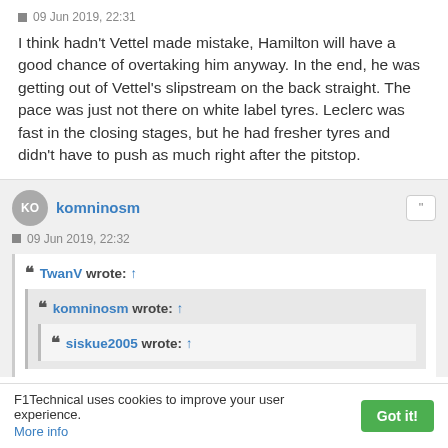09 Jun 2019, 22:31
I think hadn't Vettel made mistake, Hamilton will have a good chance of overtaking him anyway. In the end, he was getting out of Vettel's slipstream on the back straight. The pace was just not there on white label tyres. Leclerc was fast in the closing stages, but he had fresher tyres and didn't have to push as much right after the pitstop.
komninosm
09 Jun 2019, 22:32
TwanV wrote: ↑
komninosm wrote: ↑
siskue2005 wrote: ↑
F1Technical uses cookies to improve your user experience. More info  Got it!